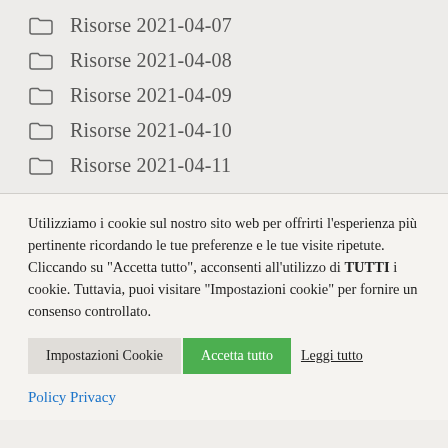Risorse 2021-04-07
Risorse 2021-04-08
Risorse 2021-04-09
Risorse 2021-04-10
Risorse 2021-04-11
Utilizziamo i cookie sul nostro sito web per offrirti l'esperienza più pertinente ricordando le tue preferenze e le tue visite ripetute. Cliccando su "Accetta tutto", acconsenti all'utilizzo di TUTTI i cookie. Tuttavia, puoi visitare "Impostazioni cookie" per fornire un consenso controllato.
Impostazioni Cookie | Accetta tutto | Leggi tutto
Policy Privacy